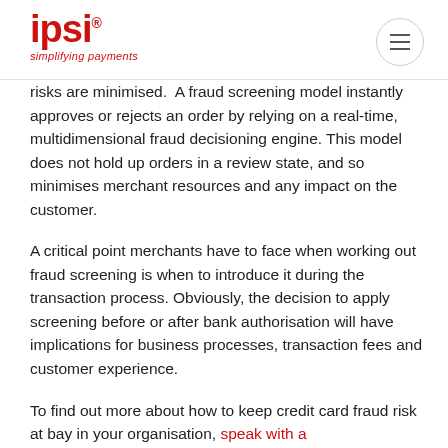ipsi® – simplifying payments
risks are minimised.  A fraud screening model instantly approves or rejects an order by relying on a real-time, multidimensional fraud decisioning engine. This model does not hold up orders in a review state, and so minimises merchant resources and any impact on the customer.
A critical point merchants have to face when working out fraud screening is when to introduce it during the transaction process. Obviously, the decision to apply screening before or after bank authorisation will have implications for business processes, transaction fees and customer experience.
To find out more about how to keep credit card fraud risk at bay in your organisation, speak with a